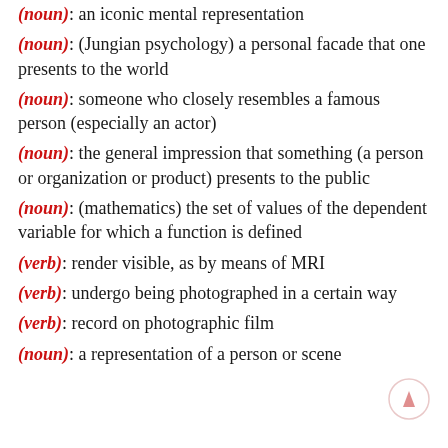(noun): an iconic mental representation
(noun): (Jungian psychology) a personal facade that one presents to the world
(noun): someone who closely resembles a famous person (especially an actor)
(noun): the general impression that something (a person or organization or product) presents to the public
(noun): (mathematics) the set of values of the dependent variable for which a function is defined
(verb): render visible, as by means of MRI
(verb): undergo being photographed in a certain way
(verb): record on photographic film
(noun): a representation of a person or scene